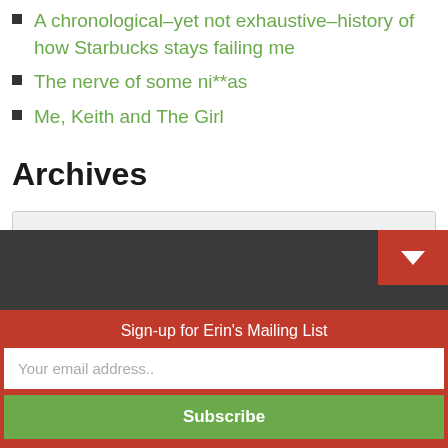A chronological–yet not exhaustive–history of how Starbucks stays failing me
The nerve of some ni**as
Me, Keith and The Girl
Archives
Select Month
Sign-up for Erin's Mailing List
Your email address..
Subscribe